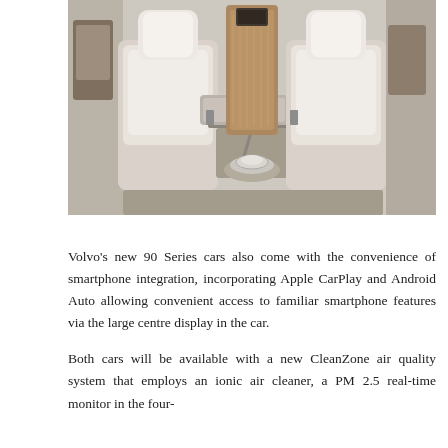[Figure (photo): Interior photo of a Volvo 90 Series luxury car showing cream/beige leather rear seats with a fold-out tray table and a chrome cup holder in the center console area.]
Volvo's new 90 Series cars also come with the convenience of smartphone integration, incorporating Apple CarPlay and Android Auto allowing convenient access to familiar smartphone features via the large centre display in the car.
Both cars will be available with a new CleanZone air quality system that employs an ionic air cleaner, a PM 2.5 real-time monitor in the four-